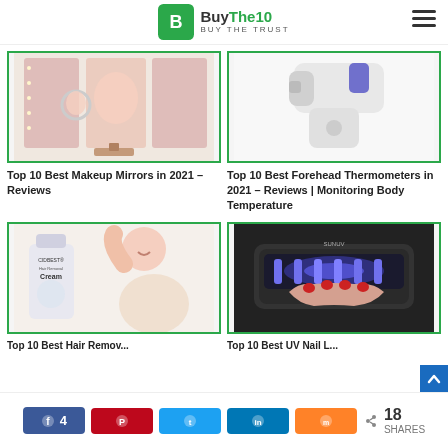BuyThe10 – Buy The Trust
Related Articles
[Figure (photo): Trifold lighted makeup mirror with woman using it]
Top 10 Best Makeup Mirrors in 2021 – Reviews
[Figure (photo): White forehead thermometer on white background]
Top 10 Best Forehead Thermometers in 2021 – Reviews | Monitoring Body Temperature
[Figure (photo): CIDBEST Hair Removal Cream with woman raising arm]
[Figure (photo): Black UV nail lamp with hand underneath]
Share 4  |  Pin  |  Tweet  |  Share  |  Mix  |  18 SHARES